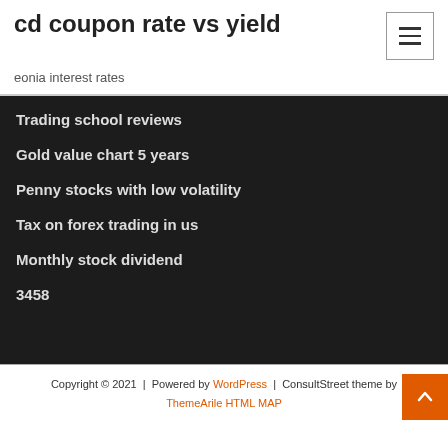cd coupon rate vs yield
eonia interest rates
Trading school reviews
Gold value chart 5 years
Penny stocks with low volatility
Tax on forex trading in us
Monthly stock dividend
3458
Copyright © 2021  |  Powered by WordPress  |  ConsultStreet theme by ThemeArile HTML MAP